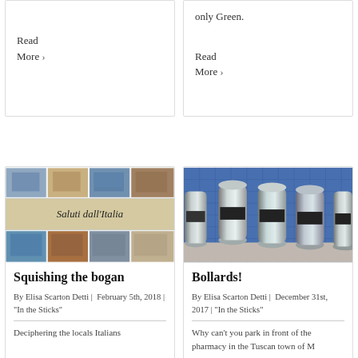Read More >
only Green.

Read More >
[Figure (photo): Italian postcard collage showing various Italian landmarks and cities with cursive text 'Saluti dall'Italia']
Squishing the bogan
By Elisa Scarton Detti | February 5th, 2018 | "In the Sticks"
Deciphering the locals Italians
[Figure (photo): Row of shiny stainless steel bollards with black bands in front of a blue tiled wall]
Bollards!
By Elisa Scarton Detti | December 31st, 2017 | "In the Sticks"
Why can't you park in front of the pharmacy in the Tuscan town of M...